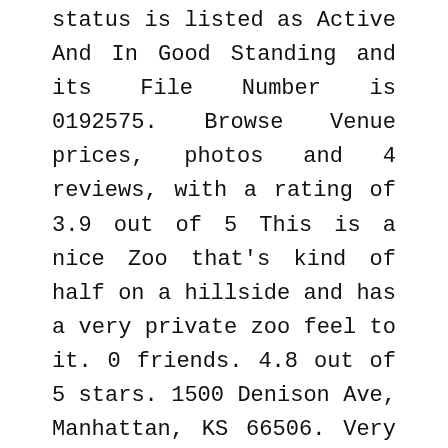status is listed as Active And In Good Standing and its File Number is 0192575. Browse Venue prices, photos and 4 reviews, with a rating of 3.9 out of 5 This is a nice Zoo that's kind of half on a hillside and has a very private zoo feel to it. 0 friends. 4.8 out of 5 stars. 1500 Denison Ave, Manhattan, KS 66506. Very unique layout. 1500 Denison Ave, Manhattan, KS 66506. 785-587-2737. 785-532-BUGS. Sunset Zoo: Sunset Zoo Manhattan KS Review by Bruce The Zoo Guy - See 176 traveler reviews, 62 candid photos, and great deals for Manhattan, KS, at Tripadvisor. Sunset Zoo 2333 Oak Street Manhattan, Kansas 66502 (785) 587-APES. Over 200 animals